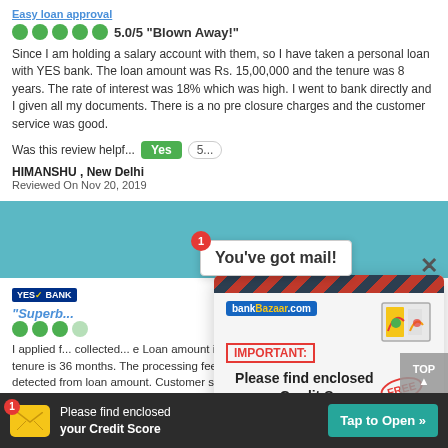Easy loan approval
5.0/5 "Blown Away!"
Since I am holding a salary account with them, so I have taken a personal loan with YES bank. The loan amount was Rs. 15,00,000 and the tenure was 8 years. The rate of interest was 18% which was high. I went to bank directly and I given all my documents. There is a no pre closure charges and the customer service was good.
Was this review helpful?
HIMANSHU , New Delhi
Reviewed On Nov 20, 2019
[Figure (screenshot): You've got mail! notification popup with red badge showing 1]
[Figure (infographic): BankBazaar credit score envelope popup with IMPORTANT label, Please find enclosed your Credit Score text, FREE stamp, and Tap to Open button]
YES BANK logo
"Superb
I applied f... collected... Loan amount is... the tenure of... interest rate and the tenure is 36 months. The processing fee and insurance was around Rs.5000 detected from loan amount. Customer services was good.
Was this review helpful?
SURI , Nanjangud
Reviewed On Nov 02, 2019
[Figure (infographic): Bottom banner: envelope icon with badge 1, Please find enclosed your Credit Score, Tap to Open button]
[Figure (screenshot): TOP navigation button bottom right]